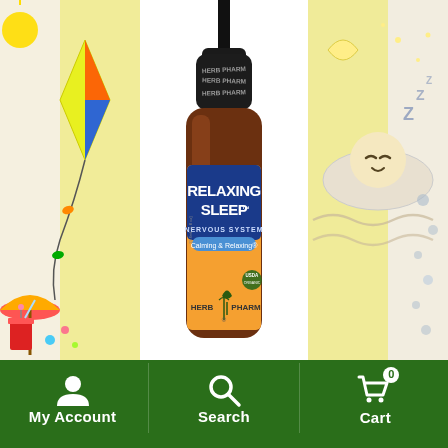[Figure (photo): Screenshot of a health supplement e-commerce website showing a Herb Pharm Relaxing Sleep tincture bottle (amber dropper bottle with blue and orange label reading 'RELAXING SLEEP, NERVOUS SYSTEM, Calming & Relaxing, HERB PHARM') centered on a white background with yellow vertical stripes on either side. Left side has a colorful summer/kite illustration; right side has a sleeping/relaxing cartoon illustration.]
My Account   Search   Cart